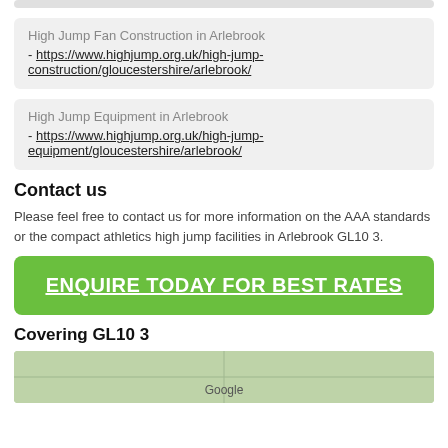High Jump Fan Construction in Arlebrook - https://www.highjump.org.uk/high-jump-construction/gloucestershire/arlebrook/
High Jump Equipment in Arlebrook - https://www.highjump.org.uk/high-jump-equipment/gloucestershire/arlebrook/
Contact us
Please feel free to contact us for more information on the AAA standards or the compact athletics high jump facilities in Arlebrook GL10 3.
ENQUIRE TODAY FOR BEST RATES
Covering GL10 3
[Figure (map): Google map thumbnail showing coverage area for GL10 3]